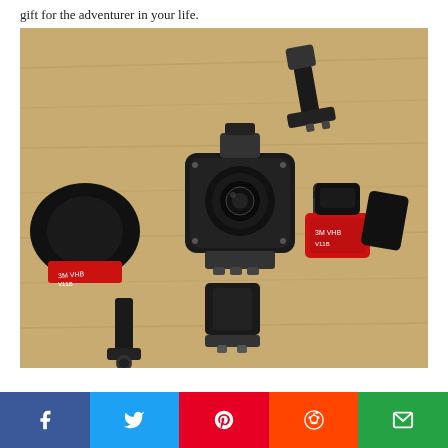gift for the adventurer in your life.
[Figure (photo): An action camera (360-degree style) with various mounts and accessories laid out on a wooden surface. Includes curved and flat adhesive mounts with red 3M tape, a clip mount, angle brackets, and thumbscrew connectors.]
Share buttons: Facebook, Twitter, Pinterest, Reddit, Email